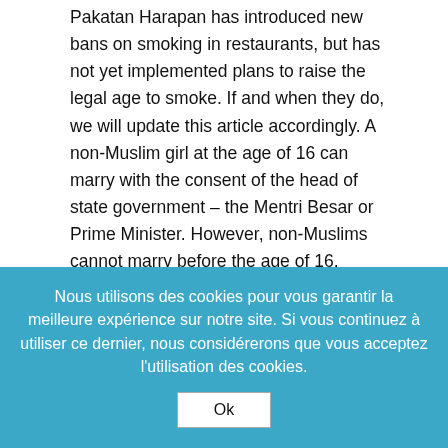Pakatan Harapan has introduced new bans on smoking in restaurants, but has not yet implemented plans to raise the legal age to smoke. If and when they do, we will update this article accordingly. A non-Muslim girl at the age of 16 can marry with the consent of the head of state government – the Mentri Besar or Prime Minister. However, non-Muslims cannot marry before the age of 16. Previously, the minimum legal age of marriage for Muslims was 18 for men and 16 for women.
For non-Muslims, it was 18 for men and women. When is a child, especially a girl, old enough to get married? Have you ever seen someone in school uniform riding a motorcycle and wondered if it was legal? Well, the legal
Nous utilisons des cookies pour vous garantir la meilleure expérience sur notre site. Si vous continuez à utiliser ce dernier, nous considérerons que vous acceptez l'utilisation des cookies.